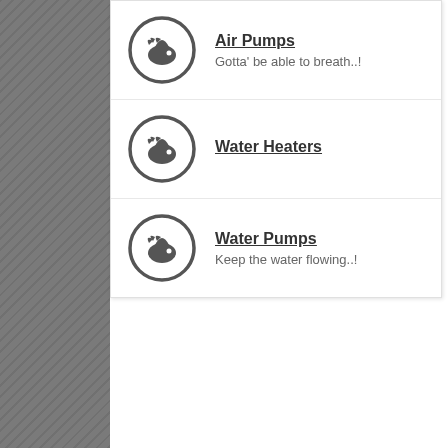Air Pumps — Gotta' be able to breath..!
Water Heaters
Water Pumps — Keep the water flowing..!
---- Green Style
All time
Discus Forum
About us
Support Forum